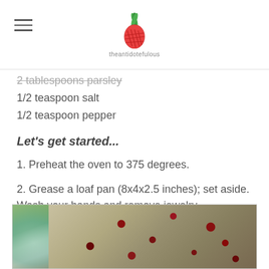theantidotefulous [logo: pineapple graphic]
2 tablespoons parsley (strikethrough)
1/2 teaspoon salt
1/2 teaspoon pepper
Let's get started...
1. Preheat the oven to 375 degrees.
2. Grease a loaf pan (8x4x2.5 inches); set aside. Wash your hands and remove jewelry.
[Figure (photo): A glass mixing bowl containing a mixture of grains, nuts, dried cranberries, and other ingredients being combined for a recipe.]